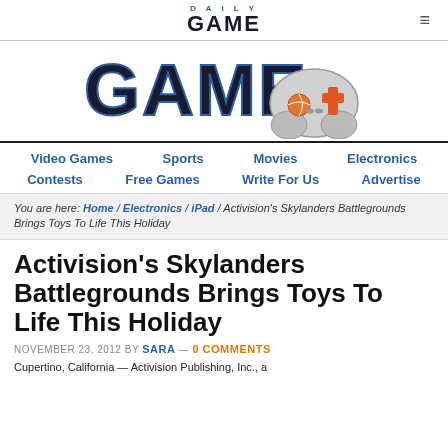DAILY GAME ≡
[Figure (logo): Daily Game logo with large bold GAME text and a game controller graphic with orange plus button]
Video Games | Sports | Movies | Electronics | Contests | Free Games | Write For Us | Advertise
You are here: Home / Electronics / iPad / Activision's Skylanders Battlegrounds Brings Toys To Life This Holiday
Activision's Skylanders Battlegrounds Brings Toys To Life This Holiday
NOVEMBER 23, 2012 BY SARA — 0 COMMENTS
Cupertino, California — Activision Publishing, Inc., a